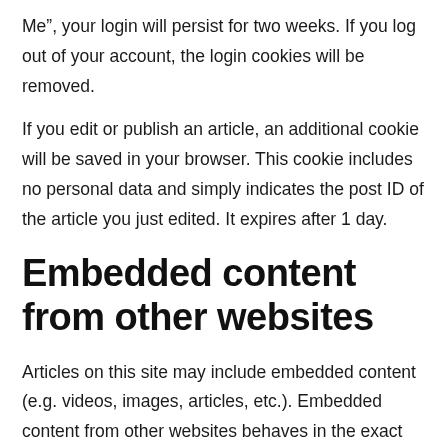Me", your login will persist for two weeks. If you log out of your account, the login cookies will be removed.
If you edit or publish an article, an additional cookie will be saved in your browser. This cookie includes no personal data and simply indicates the post ID of the article you just edited. It expires after 1 day.
Embedded content from other websites
Articles on this site may include embedded content (e.g. videos, images, articles, etc.). Embedded content from other websites behaves in the exact same way as if the visitor has visited the other website.
These websites may collect data about you, use cookies